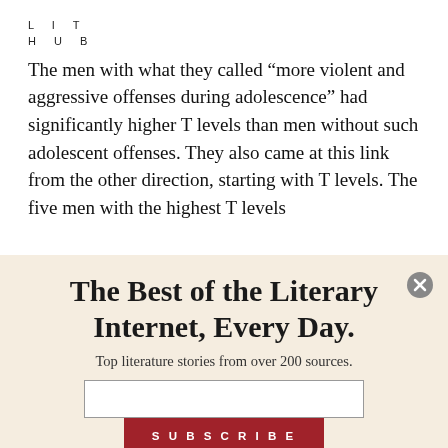LIT
HUB
The men with what they called “more violent and aggressive offenses during adolescence” had significantly higher T levels than men without such adolescent offenses. They also came at this link from the other direction, starting with T levels. The five men with the highest T levels
The Best of the Literary Internet, Every Day.
Top literature stories from over 200 sources.
SUBSCRIBE